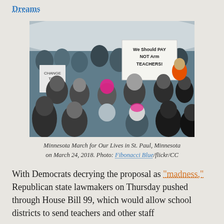Dreams
[Figure (photo): Crowd of protesters at the Minnesota March for Our Lives in St. Paul, Minnesota on March 24, 2018. A sign reads 'We Should PAY NOT Arm TEACHERS!']
Minnesota March for Our Lives in St. Paul, Minnesota on March 24, 2018. Photo: Fibonacci Blue/flickr/CC
With Democrats decrying the proposal as "madness," Republican state lawmakers on Thursday pushed through House Bill 99, which would allow school districts to send teachers and other staff